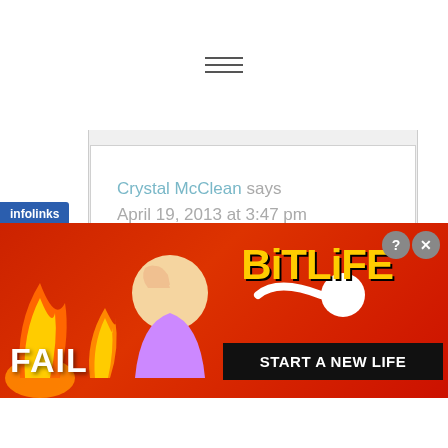[Figure (other): Hamburger menu icon with three horizontal lines]
Crystal McClean says
April 19, 2013 at 3:47 pm

Thank you for following! It's really good to have something positive to focus on when life is
[Figure (screenshot): Advertisement banner: BitLife 'START A NEW LIFE' ad with FAIL text, flames, cartoon character, and sperm icon on red background]